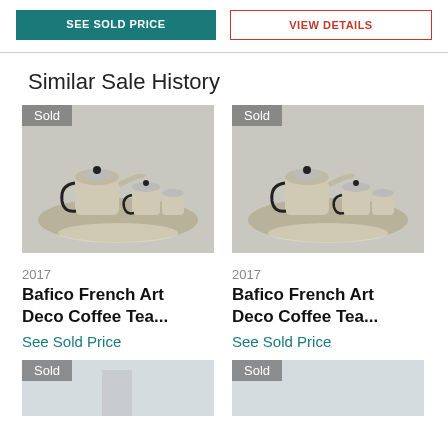[Figure (screenshot): Top bar with two buttons: SEE SOLD PRICE (teal) and VIEW DETAILS (red outline)]
Similar Sale History
[Figure (photo): Photo of Bafico French Art Deco Coffee Tea set on tray, silver, with 'Sold' badge, year 2017]
[Figure (photo): Photo of Bafico French Art Deco Coffee Tea set on tray, silver, with 'Sold' badge, year 2017]
[Figure (photo): Partially visible photo with 'Sold' badge at bottom left]
[Figure (photo): Partially visible photo with 'Sold' badge at bottom right]